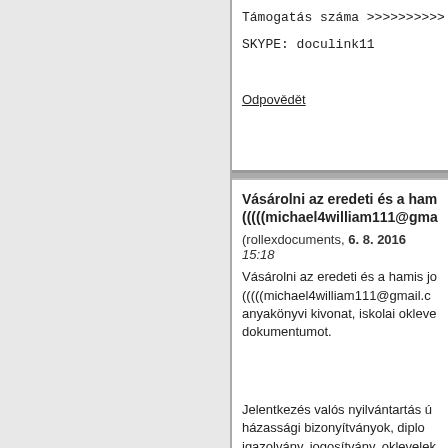Támogatás száma >>>>>>>>>>
SKYPE: doculink11
Odpovědět
Vásárolni az eredeti és a ham... (((((michael4william111@gma...
(rollexdocuments, 6. 8. 2016 15:18...
Vásárolni az eredeti és a hamis jo... (((((michael4william111@gmail.c... anyakönyvi kivonat, iskolai okleve... dokumentumot.
Jelentkezés valós nyilvántartás ú... házassági bizonyítványok, diplo... igazolvány, jogosítvány, oklevelek... üzleti vízum elérhető szolgáltatá...